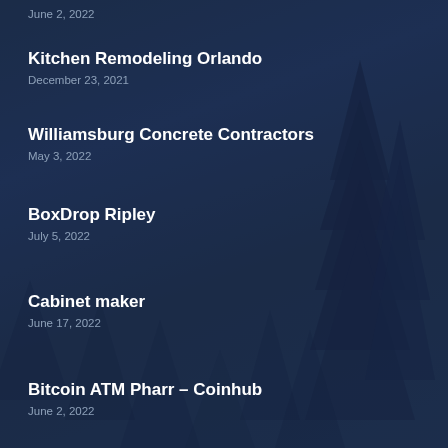June 2, 2022
Kitchen Remodeling Orlando
December 23, 2021
Williamsburg Concrete Contractors
May 3, 2022
BoxDrop Ripley
July 5, 2022
Cabinet maker
June 17, 2022
Bitcoin ATM Pharr – Coinhub
June 2, 2022